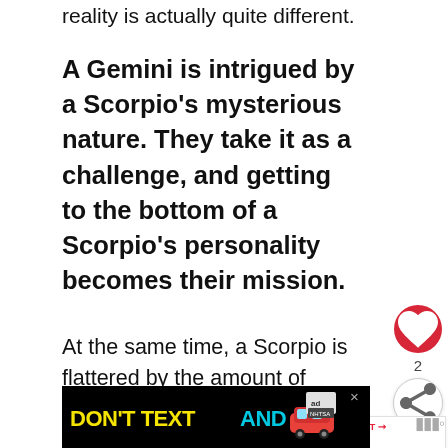reality is actually quite different.
A Gemini is intrigued by a Scorpio's mysterious nature. They take it as a challenge, and getting to the bottom of a Scorpio's personality becomes their mission.
At the same time, a Scorpio is flattered by the amount of attention they're getting. Before they know it, the & Scorpio end up together.
[Figure (screenshot): Heart (like) button in red circle, count of 2, share button]
[Figure (infographic): WHAT'S NEXT arrow widget showing Libra And Scorpio... with a couple photo thumbnail]
[Figure (screenshot): Ad banner: DON'T TEXT AND [car emoji] ad NHTSA on black background with close button]